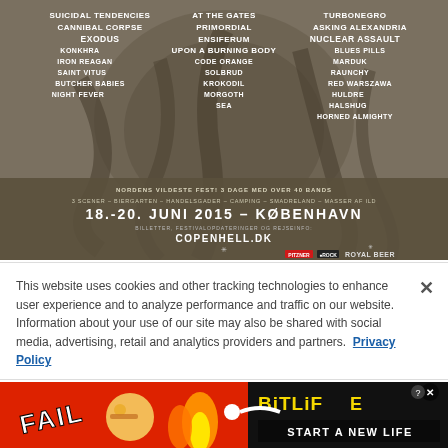[Figure (illustration): Copenhell 2015 metal music festival poster with dark brown/khaki background featuring ornate skull and serpent illustration. Band names listed in white uppercase text: Suicidal Tendencies, Cannibal Corpse, Exodus, Konkhra, Iron Reagan, Saint Vitus, Butcher Babies, Night Fever (left column); At The Gates, Primordial, Ensiferum, Upon A Burning Body, Code Orange, Solbrud, Krokodil, Morgoth, Sea (center column); Turbonegro, Asking Alexandria, Nuclear Assault, Blues Pills, Marduk, Raunchy, Red Warszawa, Huldre, Halshug, Horned Almighty (right column). Date: 18.-20. Juni 2015 - København. Website: COPENHELL.DK. Sponsors: Royal Beer and others.]
This website uses cookies and other tracking technologies to enhance user experience and to analyze performance and traffic on our website. Information about your use of our site may also be shared with social media, advertising, retail and analytics providers and partners.  Privacy Policy
[Figure (illustration): BitLife game advertisement banner with red background, 'FAIL' text in white bold, cartoon facepalm emoji character, fire graphic, and BitLife logo in yellow. 'START A NEW LIFE' text in white on dark background.]